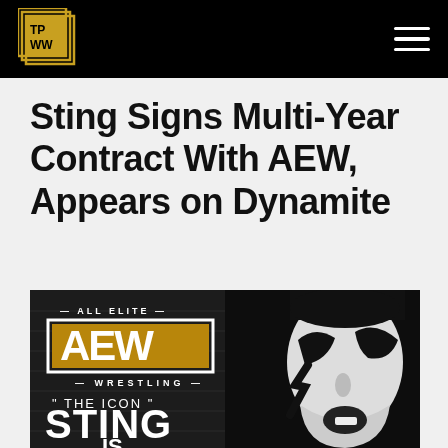TPWW
Sting Signs Multi-Year Contract With AEW, Appears on Dynamite
[Figure (photo): AEW Wrestling promotional image featuring Sting in his iconic black and white face paint with lightning bolt design, alongside the AEW logo and text reading 'ALL ELITE WRESTLING - THE ICON - STING IS']